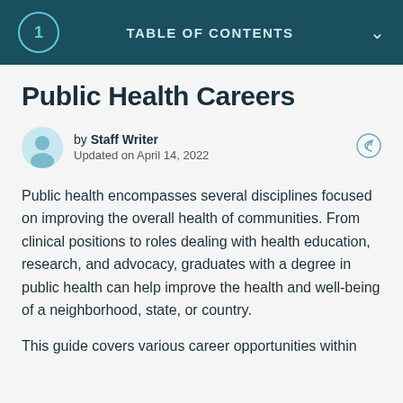1  TABLE OF CONTENTS
Public Health Careers
by Staff Writer
Updated on April 14, 2022
Public health encompasses several disciplines focused on improving the overall health of communities. From clinical positions to roles dealing with health education, research, and advocacy, graduates with a degree in public health can help improve the health and well-being of a neighborhood, state, or country.
This guide covers various career opportunities within